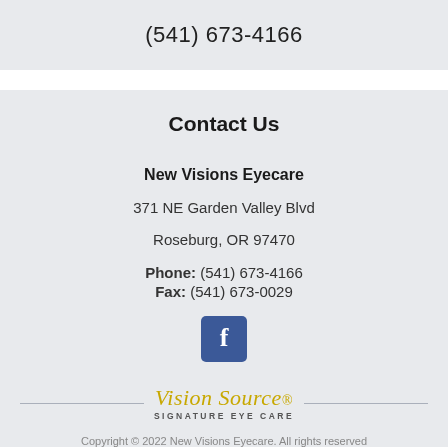(541) 673-4166
Contact Us
New Visions Eyecare
371 NE Garden Valley Blvd
Roseburg, OR 97470
Phone: (541) 673-4166
Fax: (541) 673-0029
[Figure (logo): Facebook logo icon — blue square with white letter f]
[Figure (logo): Vision Source Signature Eye Care logo with cursive text and horizontal rules]
Copyright © 2022 New Visions Eyecare. All rights reserved